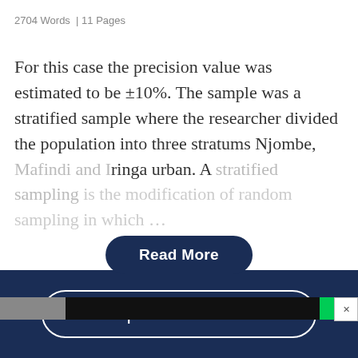2704 Words  | 11 Pages
For this case the precision value was estimated to be ±10%. The sample was a stratified sample where the researcher divided the population into three stratums Njombe, Mafindi and Iringa urban. A stratified sampling is the modification of random sampling in which…
Read More
[Figure (other): Advertisement banner strip with gray and black background, green accent bar, and X close button]
Open Document